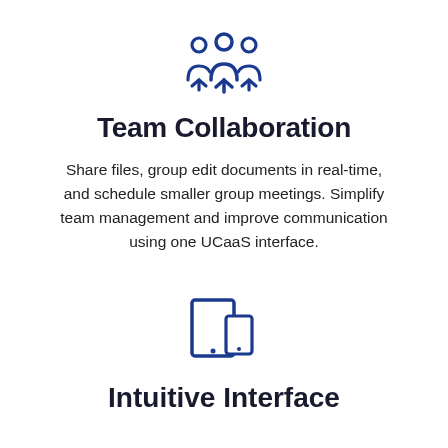[Figure (illustration): Blue icon of three people representing team collaboration]
Team Collaboration
Share files, group edit documents in real-time, and schedule smaller group meetings. Simplify team management and improve communication using one UCaaS interface.
[Figure (illustration): Blue icon of a tablet and a smaller device representing intuitive interface]
Intuitive Interface